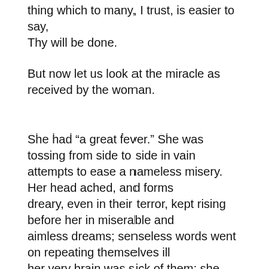thing which to many, I trust, is easier to say, Thy will be done.
But now let us look at the miracle as received by the woman.
She had “a great fever.” She was tossing from side to side in vain attempts to ease a nameless misery. Her head ached, and forms dreary, even in their terror, kept rising before her in miserable and aimless dreams; senseless words went on repeating themselves ill her very brain was sick of them; she was destitute, afflicted, tormented; now the centre for the